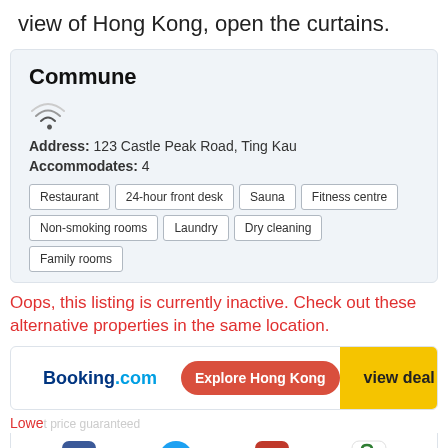view of Hong Kong, open the curtains.
Commune
Address: 123 Castle Peak Road, Ting Kau
Accommodates: 4
Restaurant
24-hour front desk
Sauna
Fitness centre
Non-smoking rooms
Laundry
Dry cleaning
Family rooms
Oops, this listing is currently inactive. Check out these alternative properties in the same location.
Booking.com  Explore Hong Kong  view deal
Lowe t price guaranteed